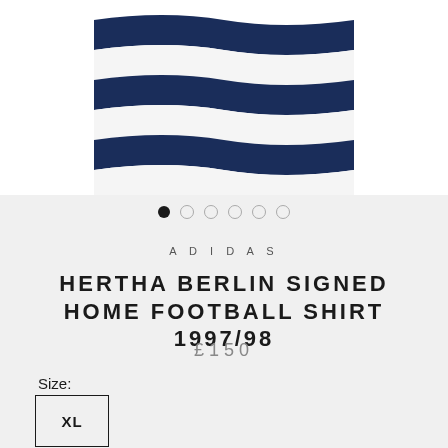[Figure (photo): Close-up of a navy blue and white striped football shirt, showing the lower portion with wavy horizontal stripes]
ADIDAS
HERTHA BERLIN SIGNED HOME FOOTBALL SHIRT 1997/98
£150
Size:
XL